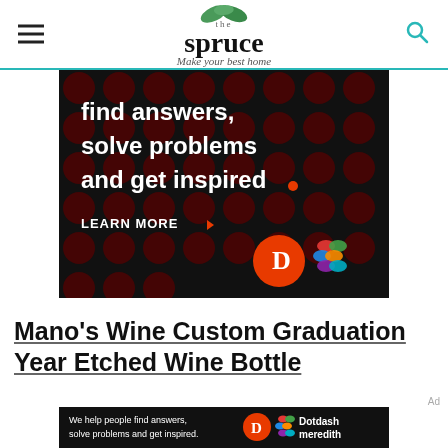the spruce — Make your best home
[Figure (screenshot): Dark advertisement banner with text 'find answers, solve problems and get inspired.' with LEARN MORE button and Dotdash Meredith logos on black background with dark red polka dots]
Mano's Wine Custom Graduation Year Etched Wine Bottle
Ad
[Figure (screenshot): Small dark advertisement banner: 'We help people find answers, solve problems and get inspired.' with Dotdash meredith logo]